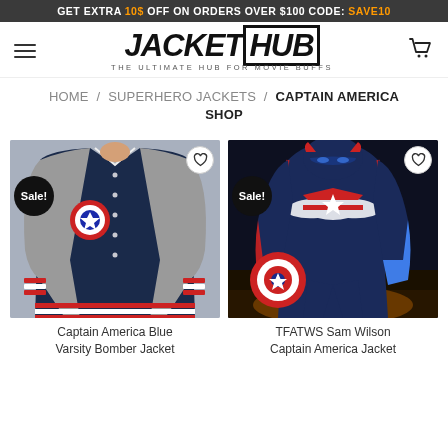GET EXTRA 10$ OFF ON ORDERS OVER $100 CODE: SAVE10
[Figure (logo): JacketHub logo — JACKET in bold italic black, HUB in bold italic black with border, tagline: THE ULTIMATE HUB FOR MOVIE BUFFS]
HOME / SUPERHERO JACKETS / CAPTAIN AMERICA SHOP
[Figure (photo): Captain America Blue Varsity Bomber Jacket product photo — person wearing navy blue and grey varsity jacket with Captain America shield logo and red/white striped cuffs. Sale badge in bottom-left, heart wishlist icon top-right.]
[Figure (photo): TFATWS Sam Wilson Captain America Jacket product photo — character in Captain America suit with shield, nighttime action scene. Sale badge bottom-left, heart wishlist icon top-right.]
Captain America Blue Varsity Bomber Jacket
TFATWS Sam Wilson Captain America Jacket